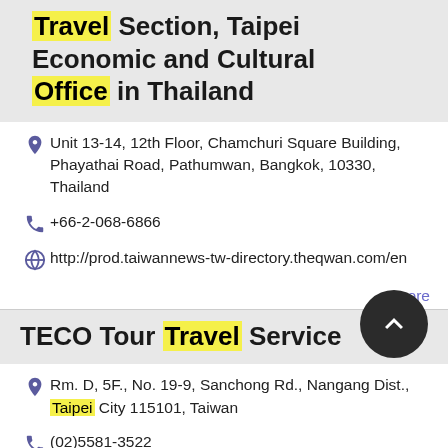Travel Section, Taipei Economic and Cultural Office in Thailand
Unit 13-14, 12th Floor, Chamchuri Square Building, Phayathai Road, Pathumwan, Bangkok, 10330, Thailand
+66-2-068-6866
http://prod.taiwannews-tw-directory.theqwan.com/en
more
TECO Tour Travel Service
Rm. D, 5F., No. 19-9, Sanchong Rd., Nangang Dist., Taipei City 115101, Taiwan
(02)5581-3522
(02)5581-3511